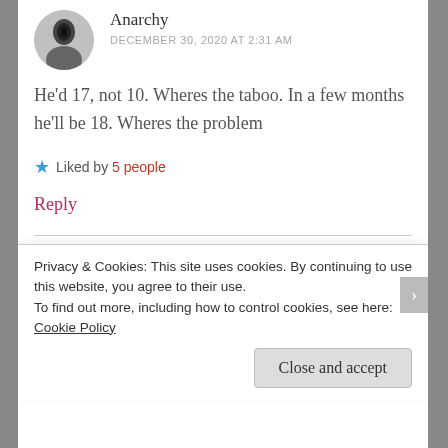[Figure (photo): Avatar photo of user Anarchy - circular profile picture showing a dark-haired person]
Anarchy
DECEMBER 30, 2020 AT 2:31 AM
He'd 17, not 10. Wheres the taboo. In a few months he'll be 18. Wheres the problem
★ Liked by 5 people
Reply
[Figure (illustration): Avatar icon for user Aamu16 - geometric diamond/cross pattern in teal and white forming a dome/arch shape]
Aamu16
Privacy & Cookies: This site uses cookies. By continuing to use this website, you agree to their use. To find out more, including how to control cookies, see here: Cookie Policy
Close and accept